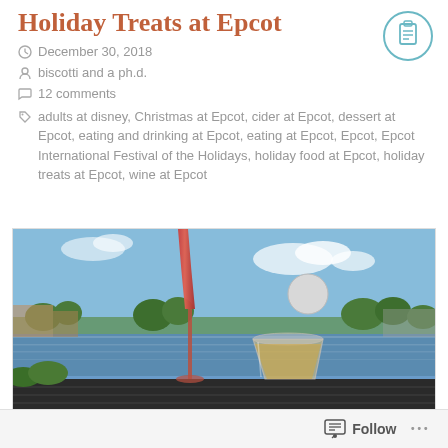Holiday Treats at Epcot
December 30, 2018
biscotti and a ph.d.
12 comments
adults at disney, Christmas at Epcot, cider at Epcot, dessert at Epcot, eating and drinking at Epcot, eating at Epcot, Epcot, Epcot International Festival of the Holidays, holiday food at Epcot, holiday treats at Epcot, wine at Epcot
[Figure (photo): A tall flute glass with red/pink drink and a clear plastic cup with golden beverage on a dark table, with Epcot's World Showcase lagoon and Spaceship Earth in the background under a blue sky.]
Follow